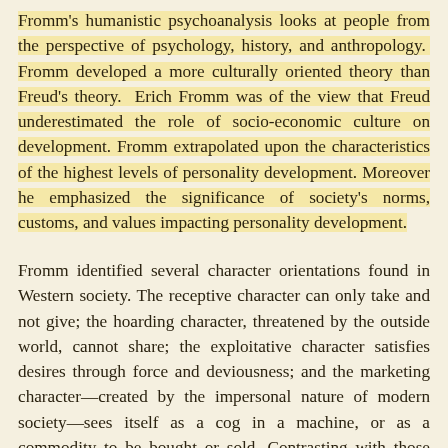Fromm's humanistic psychoanalysis looks at people from the perspective of psychology, history, and anthropology. Fromm developed a more culturally oriented theory than Freud's theory. Erich Fromm was of the view that Freud underestimated the role of socio-economic culture on development. Fromm extrapolated upon the characteristics of the highest levels of personality development. Moreover he emphasized the significance of society's norms, customs, and values impacting personality development.
Fromm identified several character orientations found in Western society. The receptive character can only take and not give; the hoarding character, threatened by the outside world, cannot share; the exploitative character satisfies desires through force and deviousness; and the marketing character—created by the impersonal nature of modern society—sees itself as a cog in a machine, or as a commodity to be bought or sold. Contrasting with those negative orientations is the productive character...